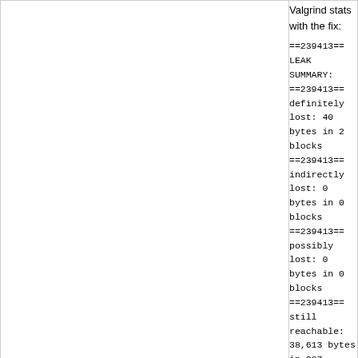Valgrind stats with the fix:
==239413== LEAK SUMMARY:
==239413== definitely lost: 40 bytes in 2 blocks
==239413== indirectly lost: 0 bytes in 0 blocks
==239413== possibly lost: 0 bytes in 0 blocks
==239413== still reachable: 38,613 bytes in 287
==239413== suppressed: 0 bytes in 0 blocks
Remaining leaks in scpi_vxi_open() are of lesser s don't accumulate during execution.
[ gsi: rebase to recent master, reword commit mes
14 months ago
scpi_vxi: readability nits in the SCPI via VXI source code
commit | commitdiff | tree   Gerhard Sittig [Sun, 6 Jun 2021 14:06:51 +0000 (16:06 +0200)]
scpi_vxi: readability nits in the SCPI via VXI sourc

Address style nits to improve readablity and future
Move system header includes before application l
assignments out of variable declaration blocks. Se
and assignments from error checks and flow contr
Add braces around conditional multi line statemen

All these adjustments are cosmetical. Behaviour d